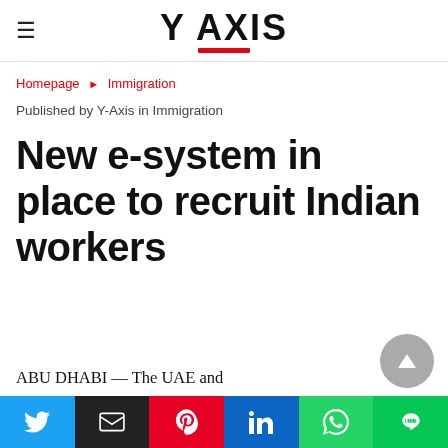Y AXIS
Homepage ▶ Immigration
Published by Y-Axis in Immigration
New e-system in place to recruit Indian workers
ABU DHABI — The UAE and